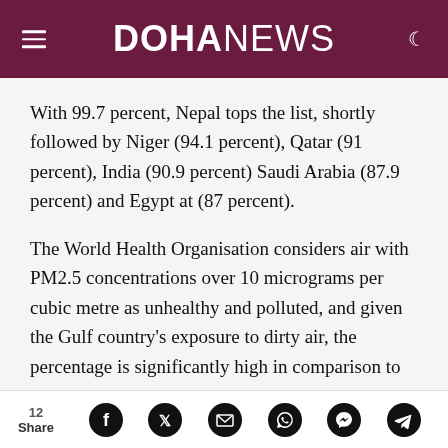DOHANEWS
With 99.7 percent, Nepal tops the list, shortly followed by Niger (94.1 percent), Qatar (91 percent), India (90.9 percent) Saudi Arabia (87.9 percent) and Egypt at (87 percent).
The World Health Organisation considers air with PM2.5 concentrations over 10 micrograms per cubic metre as unhealthy and polluted, and given the Gulf country's exposure to dirty air, the percentage is significantly high in comparison to
12 Share